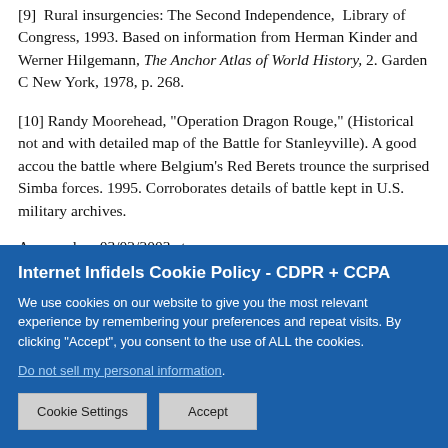[9] Rural insurgencies: The Second Independence, Library of Congress, 1993. Based on information from Herman Kinder and Werner Hilgemann, The Anchor Atlas of World History, 2. Garden City, New York, 1978, p. 268.
[10] Randy Moorehead, "Operation Dragon Rouge," (Historical note and with detailed map of the Battle for Stanleyville). A good account of the battle where Belgium's Red Berets trounce the surprised Simba forces. 1995. Corroborates details of battle kept in U.S. military archives.

Accessed on 03/02/2003 at http://simulationsworkshop.tripod.com/dragon.html
[11] Richard L. Helm, "A Close Call in Africa: A Plane Crash, Ret...
[Figure (screenshot): Cookie consent banner with blue background. Title: 'Internet Infidels Cookie Policy - CDPR + CCPA'. Body text about cookies and consent. Link: 'Do not sell my personal information'. Two buttons: 'Cookie Settings' and 'Accept'.]